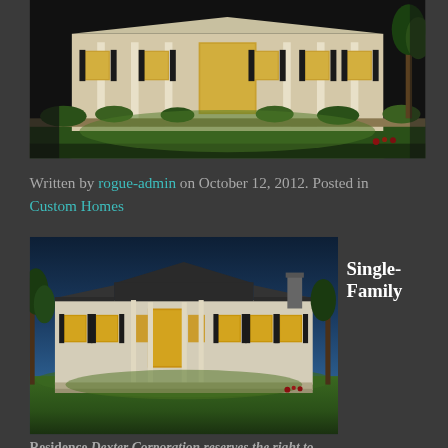[Figure (photo): Nighttime exterior photo of a large single-family custom home with white columns, black shutters, illuminated windows, and a manicured green lawn in the foreground.]
Written by rogue-admin on October 12, 2012. Posted in Custom Homes
[Figure (photo): Nighttime exterior photo of a large single-family custom home with white facade, dark roof, lit windows, green lawn and trees.]
Single-Family
Residence Dexter Corporation reserves the right to